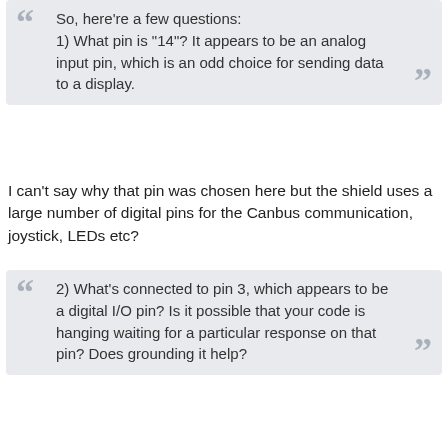So, here're a few questions:
1) What pin is "14"? It appears to be an analog input pin, which is an odd choice for sending data to a display.
I can't say why that pin was chosen here but the shield uses a large number of digital pins for the Canbus communication, joystick, LEDs etc?
2) What's connected to pin 3, which appears to be a digital I/O pin? Is it possible that your code is hanging waiting for a particular response on that pin? Does grounding it help?
Looking at the schematic, as far as I can tell nothing is connected?
3) If you change both pins to DI/O pins, do you get the same result?
Pin 14 is already a digital pin?
4) If you change to different serial driver software,